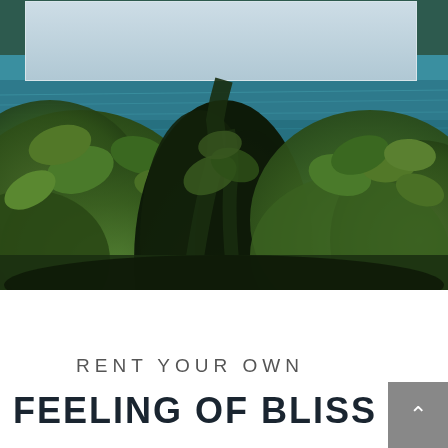[Figure (photo): Tropical coastal scene viewed through lush green foliage with turquoise ocean visible in background. Dense tropical leaves and dark vines frame the view. A light blue sky block is visible at the top center behind a white rectangular overlay.]
RENT YOUR OWN
FEELING OF BLISS